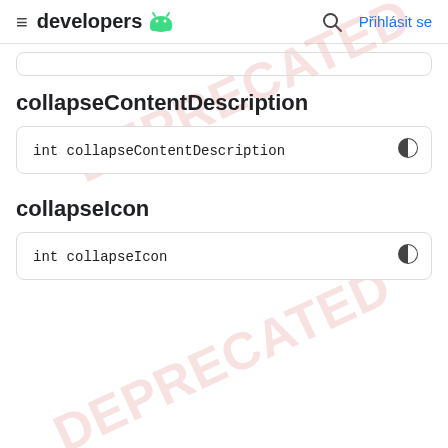developers  Přihlásit se
collapseContentDescription
int collapseContentDescription
collapseIcon
int collapseIcon